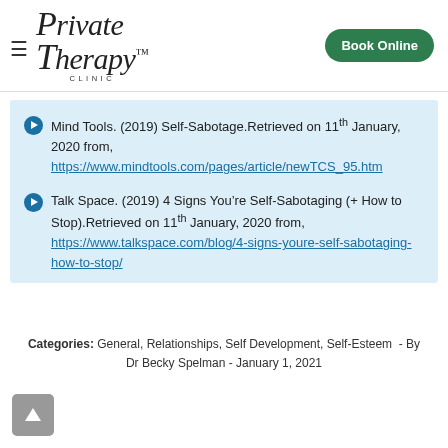Private Therapy Clinic
Mind Tools. (2019) Self-Sabotage.Retrieved on 11th January, 2020 from, https://www.mindtools.com/pages/article/newTCS_95.htm
Talk Space. (2019) 4 Signs You’re Self-Sabotaging (+ How to Stop).Retrieved on 11th January, 2020 from, https://www.talkspace.com/blog/4-signs-youre-self-sabotaging-how-to-stop/
Categories: General, Relationships, Self Development, Self-Esteem - By Dr Becky Spelman - January 1, 2021